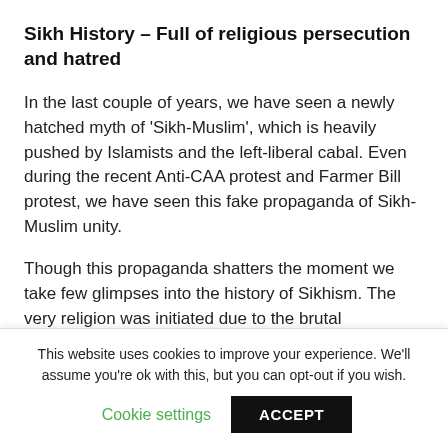Sikh History – Full of religious persecution and hatred
In the last couple of years, we have seen a newly hatched myth of 'Sikh-Muslim', which is heavily pushed by Islamists and the left-liberal cabal. Even during the recent Anti-CAA protest and Farmer Bill protest, we have seen this fake propaganda of Sikh-Muslim unity.
Though this propaganda shatters the moment we take few glimpses into the history of Sikhism. The very religion was initiated due to the brutal persecution of people at the hands of Mughal
This website uses cookies to improve your experience. We'll assume you're ok with this, but you can opt-out if you wish.